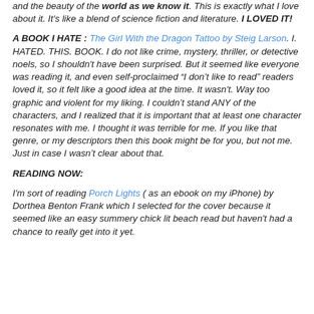and the beauty of the world as we know it. This is exactly what I love about it. It's like a blend of science fiction and literature. I LOVED IT!
A BOOK I HATE : The Girl With the Dragon Tattoo by Steig Larson. I. HATED. THIS. BOOK. I do not like crime, mystery, thriller, or detective noels, so I shouldn't have been surprised. But it seemed like everyone was reading it, and even self-proclaimed “I don’t like to read” readers loved it, so it felt like a good idea at the time. It wasn't. Way too graphic and violent for my liking. I couldn’t stand ANY of the characters, and I realized that it is important that at least one character resonates with me. I thought it was terrible for me. If you like that genre, or my descriptors then this book might be for you, but not me. Just in case I wasn’t clear about that.
READING NOW:
I'm sort of reading Porch Lights ( as an ebook on my iPhone) by Dorthea Benton Frank which I selected for the cover because it seemed like an easy summery chick lit beach read but haven't had a chance to really get into it yet.